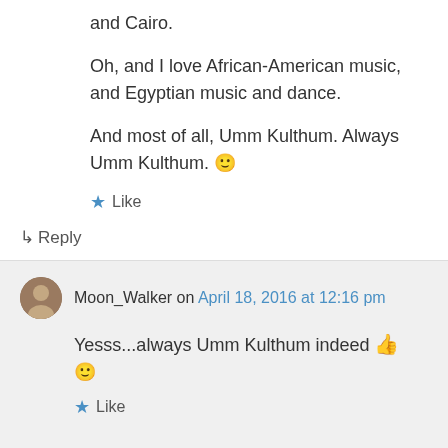and Cairo.
Oh, and I love African-American music, and Egyptian music and dance.
And most of all, Umm Kulthum. Always Umm Kulthum. 🙂
★ Like
↳ Reply
Moon_Walker on April 18, 2016 at 12:16 pm
Yesss...always Umm Kulthum indeed 👍 🙂
★ Like